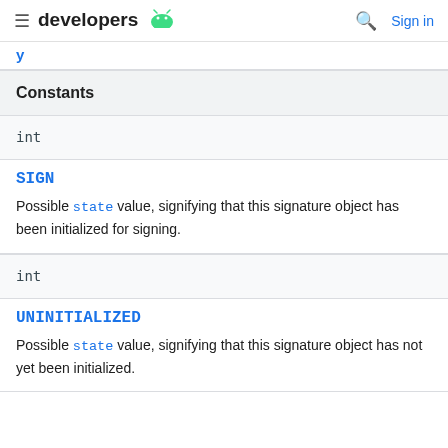developers [android logo] | [search] Sign in
y
| Constants |
| --- |
| int |
| SIGN
Possible state value, signifying that this signature object has been initialized for signing. |
| int |
| UNINITIALIZED
Possible state value, signifying that this signature object has not yet been initialized. |